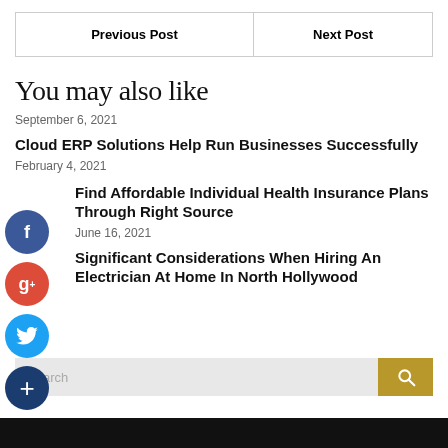| Previous Post | Next Post |
| --- | --- |
You may also like
September 6, 2021
Cloud ERP Solutions Help Run Businesses Successfully
February 4, 2021
Find Affordable Individual Health Insurance Plans Through Right Source
June 16, 2021
Significant Considerations When Hiring An Electrician At Home In North Hollywood